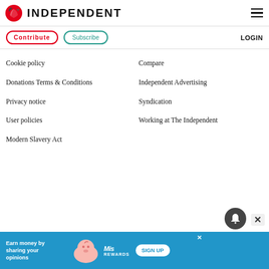INDEPENDENT
Contribute
Subscribe
LOGIN
Cookie policy
Donations Terms & Conditions
Privacy notice
User policies
Modern Slavery Act
Compare
Independent Advertising
Syndication
Working at The Independent
[Figure (infographic): Advertisement banner: Earn money by sharing your opinions, with Miss Rewards branding and SIGN UP button]